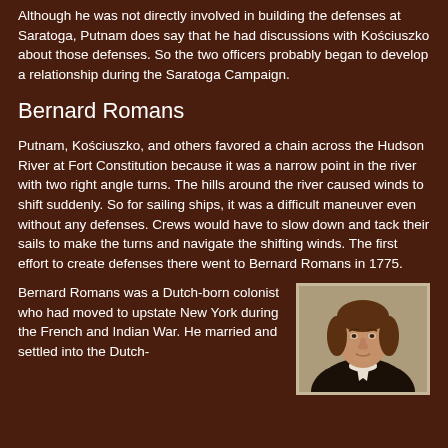Although he was not directly involved in building the defenses at Saratoga, Putnam does say that he had discussions with Kościuszko about those defenses.  So the two officers probably began to develop a relationship during the Saratoga Campaign.
Bernard Romans
Putnam, Kościuszko, and others favored a chain across the Hudson River at Fort Constitution because it was a narrow point in the river with two right angle turns.  The hills around the river caused winds to shift suddenly.  So for sailing ships, it was a difficult maneuver even without any defenses.  Crews would have to slow down and tack their sails to make the turns and navigate the shifting winds.  The first effort to create defenses there went to Bernard Romans in 1775.
Bernard Romans was a Dutch-born colonist who had moved to upstate New York during the French and Indian War.  He married and settled into the Dutch-
[Figure (photo): Portrait painting of Bernard Romans, a man with brown curly hair wearing a dark coat with white collar, shown from the shoulders up against a muted background.]